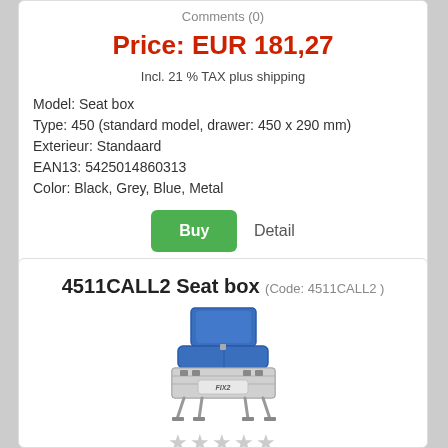Comments (0)
Price: EUR 181,27
Incl. 21 % TAX plus shipping
Model: Seat box
Type: 450 (standard model, drawer: 450 x 290 mm)
Exterieur: Standaard
EAN13: 5425014860313
Color: Black, Grey, Blue, Metal
Buy   Detail
4511CALL2 Seat box (Code: 4511CALL2 )
[Figure (photo): Blue and grey fishing seat box with backrest, seat cushion, and metal legs (FIX2 brand)]
★★★★★